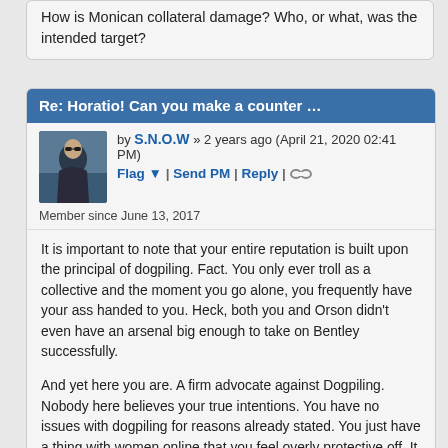How is Monican collateral damage? Who, or what, was the intended target?
Re: Horatio! Can you make a counter ...
by S.N.O.W » 2 years ago (April 21, 2020 02:41 PM)
Flag ▼ | Send PM | Reply | ∞
Member since June 13, 2017
It is important to note that your entire reputation is built upon the principal of dogpiling. Fact. You only ever troll as a collective and the moment you go alone, you frequently have your ass handed to you. Heck, both you and Orson didn't even have an arsenal big enough to take on Bentley successfully.
And yet here you are. A firm advocate against Dogpiling. Nobody here believes your true intentions. You have no issues with dogpiling for reasons already stated. You just have a thing with women online that you feel overly protective off. It is slightly creepy but when you've been married as long as you have it's easily forgivable.
TL/DR: